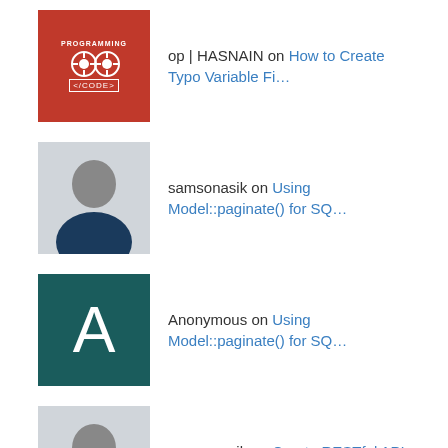op | HASNAIN on How to Create Typo Variable Fi…
samsonasik on Using Model::paginate() for SQ…
Anonymous on Using Model::paginate() for SQ…
samsonasik on Create RESTful API in CodeIgni…
Ravhi Rizaldi on Create RESTful API in CodeIgni…
Blog Stats
2,670,801 Hits
Follow T…